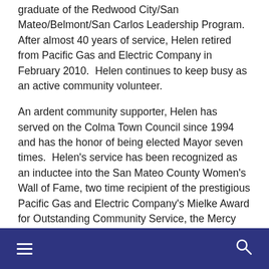graduate of the Redwood City/San Mateo/Belmont/San Carlos Leadership Program.  After almost 40 years of service, Helen retired from Pacific Gas and Electric Company in February 2010.  Helen continues to keep busy as an active community volunteer.
An ardent community supporter, Helen has served on the Colma Town Council since 1994 and has the honor of being elected Mayor seven times.  Helen's service has been recognized as an inductee into the San Mateo County Women's Wall of Fame, two time recipient of the prestigious Pacific Gas and Electric Company's Mielke Award for Outstanding Community Service, the Mercy High School Catherine's Legacy Award, the Sitike Community Kindness Award, and the Colma-Daly City Chamber of Commerce Cypress Leadership Award, Lifetime Achievement Award, and Leadership Panelist Award.
navigation bar with hamburger menu and search icon